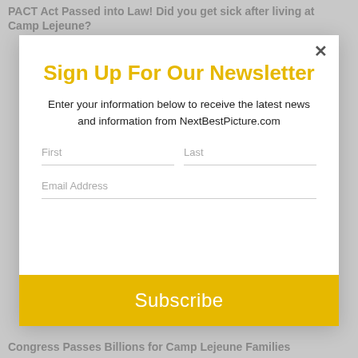PACT Act Passed into Law! Did you get sick after living at Camp Lejeune?
Sign Up For Our Newsletter
Enter your information below to receive the latest news and information from NextBestPicture.com
First
Last
Email Address
Subscribe
Congress Passes Billions for Camp Lejeune Families